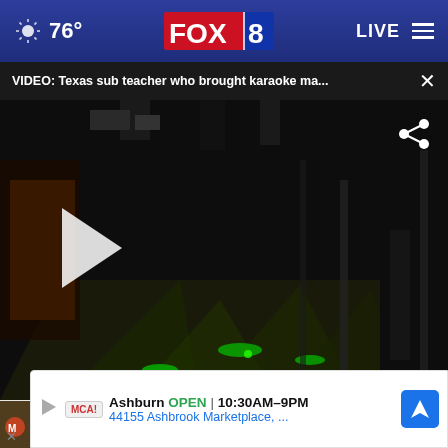76° FOX 8 LIVE
VIDEO: Texas sub teacher who brought karaoke ma... ×
[Figure (screenshot): Dark video frame showing a room with green laser lights on the floor and gym equipment, with a play button overlay and share icon]
All aboard! Tickets coming so for North Pole Adventure
Ashburn OPEN | 10:30AM–9PM 44155 Ashbrook Marketplace, ...
Popular weedkiller linked to